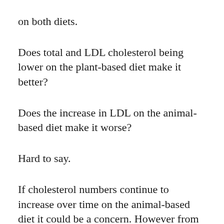on both diets.
Does total and LDL cholesterol being lower on the plant-based diet make it better?
Does the increase in LDL on the animal-based diet make it worse?
Hard to say.
If cholesterol numbers continue to increase over time on the animal-based diet it could be a concern. However from the two week experiment there is nothing to be too